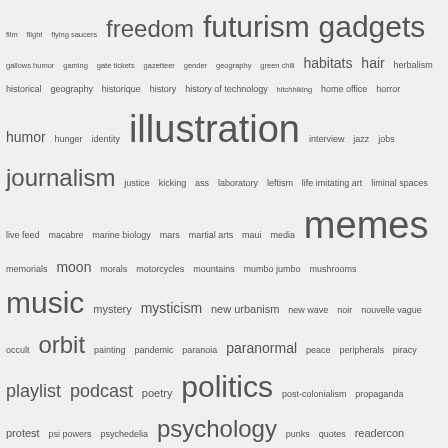[Figure (infographic): Tag cloud / word cloud showing various topics in different font sizes indicating frequency/importance. Topics include film, futurism, gadgets, freedom, illustration, journalism, memes, music, orbit, politics, psychology, rebellion, science fiction, society, surrealism and many more.]